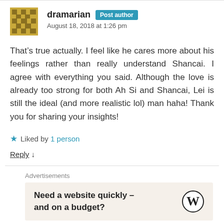dramarian  Post author
August 18, 2018 at 1:26 pm
That’s true actually. I feel like he cares more about his feelings rather than really understand Shancai. I agree with everything you said. Although the love is already too strong for both Ah Si and Shancai, Lei is still the ideal (and more realistic lol) man haha! Thank you for sharing your insights!
★ Liked by 1 person
Reply ↓
Advertisements
Need a website quickly – and on a budget?